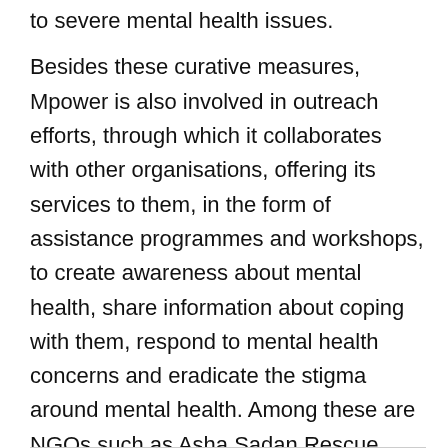to severe mental health issues.
Besides these curative measures, Mpower is also involved in outreach efforts, through which it collaborates with other organisations, offering its services to them, in the form of assistance programmes and workshops, to create awareness about mental health, share information about coping with them, respond to mental health concerns and eradicate the stigma around mental health. Among these are NGOs such as Asha Sadan Rescue Home, Seva Sadan and Vikas Vidyalaya (for the hearing impaired). Professional workshops and training are also provided to mental health professionals to build skills.